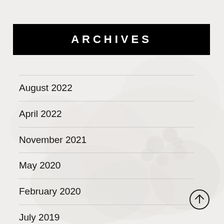[Figure (photo): Blurred background photo of bowls with blueberries/food items, very faint/washed out]
ARCHIVES
August 2022
April 2022
November 2021
May 2020
February 2020
July 2019
May 2019